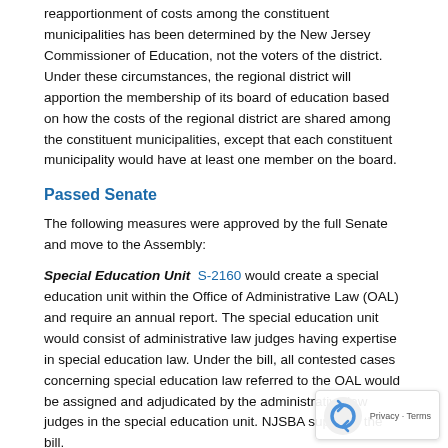reapportionment of costs among the constituent municipalities has been determined by the New Jersey Commissioner of Education, not the voters of the district.  Under these circumstances, the regional district will apportion the membership of its board of education based on how the costs of the regional district are shared among the constituent municipalities, except that each constituent municipality would have at least one member on the board.
Passed Senate
The following measures were approved by the full Senate and move to the Assembly:
Special Education Unit  S-2160 would create a special education unit within the Office of Administrative Law (OAL) and require an annual report. The special education unit would consist of administrative law judges having expertise in special education law. Under the bill, all contested cases concerning special education law referred to the OAL would be assigned and adjudicated by the administrative law judges in the special education unit. NJSBA supports the bill.